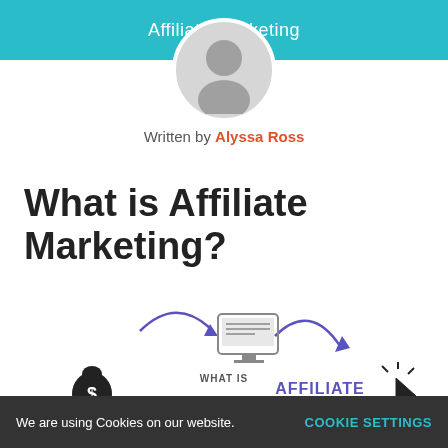Affiliate Marketing
[Figure (illustration): Generic user avatar circle with grey silhouette icon, overlapping teal header bar]
Written by Alyssa Ross
What is Affiliate Marketing?
[Figure (infographic): Partial infographic showing arrows pointing to a monitor icon, with text 'WHAT IS AFFILIATE MARKETING', a money bag with dollar sign, and a cursor click icon]
We are using Cookies on our website.  COOKIE SETTINGS